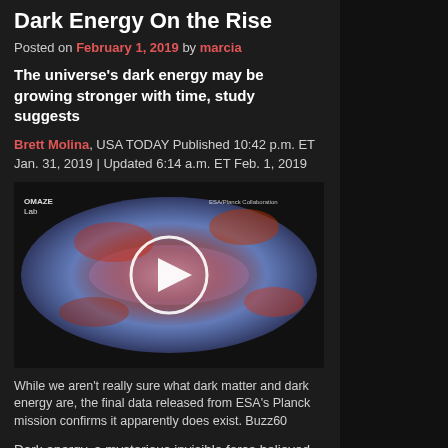Dark Energy On the Rise
Posted on February 1, 2019 by marcia
The universe's dark energy may be growing stronger with time, study suggests
Brett Molina, USA TODAY Published 10:42 p.m. ET Jan. 31, 2019 | Updated 6:14 a.m. ET Feb. 1, 2019
[Figure (screenshot): Video thumbnail showing a false-color cosmic microwave background map (Planck satellite data) with red and blue regions, overlaid with a white circular play button icon. Small logos in corners: 'OMAZE Lab' on left, 'ESA/Planck Collaboration' on right.]
While we aren't really sure what dark matter and dark energy are, the final data released from ESA's Planck mission confirms it apparently does exist. Buzz60
Dark energy, a mysterious invisible force believed to play a role in how the universe expands, may be growing